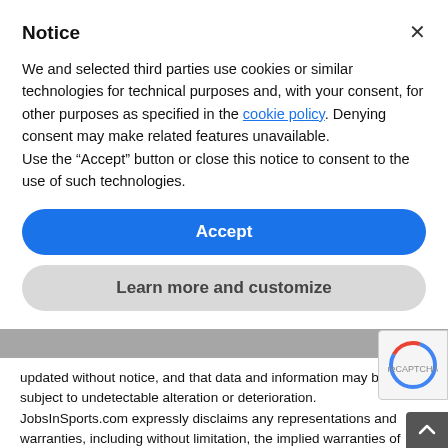Notice
We and selected third parties use cookies or similar technologies for technical purposes and, with your consent, for other purposes as specified in the cookie policy. Denying consent may make related features unavailable.
Use the “Accept” button or close this notice to consent to the use of such technologies.
Accept
Learn more and customize
updated without notice, and that data and information may be subject to undetectable alteration or deterioration. JobsInSports.com expressly disclaims any representations and warranties, including without limitation, the implied warranties of TITLE, MERCHANTABILITY, FITNESS FOR A PARTICULAR PURPOSE or NON-INFRINGEMENT, or any warranty arising any course of dealing, usage of trade, or trade practice. You